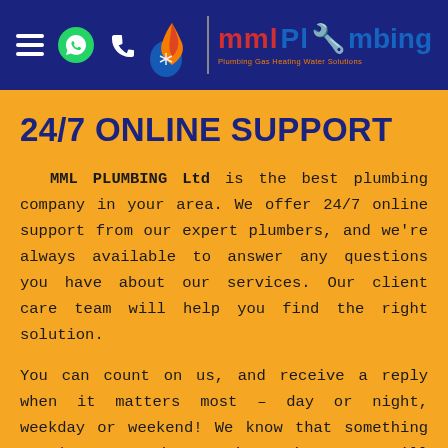MML Plumbing — Navigation header with hamburger menu, WhatsApp icon, phone icon, and MML Plumbing logo
24/7 ONLINE SUPPORT
MML PLUMBING Ltd is the best plumbing company in your area. We offer 24/7 online support from our expert plumbers, and we're always available to answer any questions you have about our services. Our client care team will help you find the right solution.
You can count on us, and receive a reply when it matters most – day or night, weekday or weekend! We know that something can happen at inconvenient times, so we'll make sure someone's there for you whenever you need